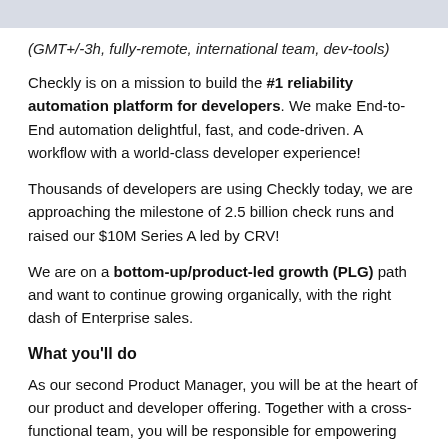(GMT+/-3h, fully-remote, international team, dev-tools)
Checkly is on a mission to build the #1 reliability automation platform for developers. We make End-to-End automation delightful, fast, and code-driven. A workflow with a world-class developer experience!
Thousands of developers are using Checkly today, we are approaching the milestone of 2.5 billion check runs and raised our $10M Series A led by CRV!
We are on a bottom-up/product-led growth (PLG) path and want to continue growing organically, with the right dash of Enterprise sales.
What you'll do
As our second Product Manager, you will be at the heart of our product and developer offering. Together with a cross-functional team, you will be responsible for empowering developers to truly own operations. You will report to our